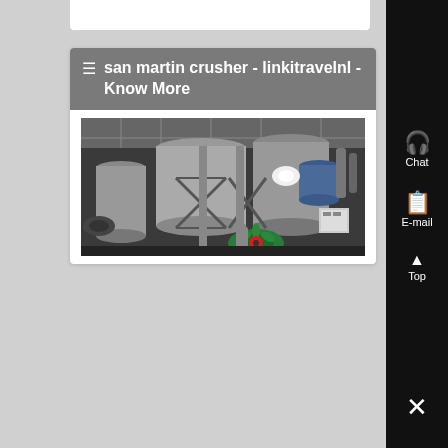☰ san martin crusher - linkitravelnl - Know More
[Figure (photo): Industrial crusher machinery in a factory setting, showing large cylindrical silos, metal structures, green blower fan, and industrial equipment in a dimly lit manufacturing plant.]
Chat
E-mail
Top